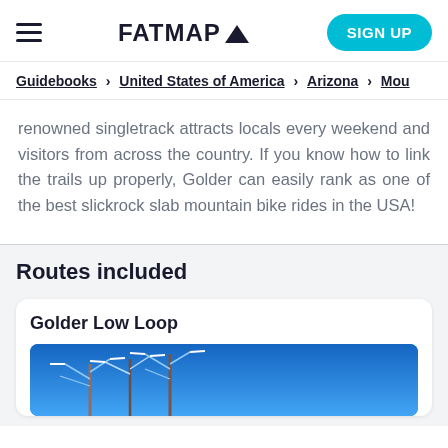FATMAP
Guidebooks > United States of America > Arizona > Mou
renowned singletrack attracts locals every weekend and visitors from across the country. If you know how to link the trails up properly, Golder can easily rank as one of the best slickrock slab mountain bike rides in the USA!
Routes included
Golder Low Loop
[Figure (photo): Photo of snowy trees against a blue sky]